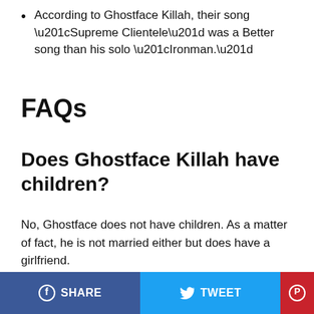According to Ghostface Killah, their song “Supreme Clientele” was a Better song than his solo “Ironman.”
FAQs
Does Ghostface Killah have children?
No, Ghostface does not have children. As a matter of fact, he is not married either but does have a girlfriend.
SHARE | TWEET | Pinterest